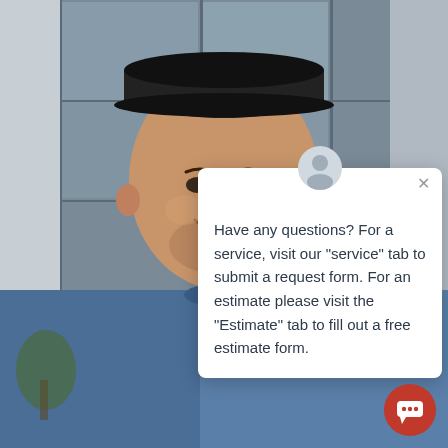[Figure (photo): Smiling middle-aged man wearing a dark cap and blue polo shirt, standing in front of a building with large windows, photographed outdoors.]
Have any questions? For a service, visit our "service" tab to submit a request form. For an estimate please visit the "Estimate" tab to fill out a free estimate form.
[Figure (illustration): Red circular chat bubble button in the bottom-right corner with a white speech bubble icon.]